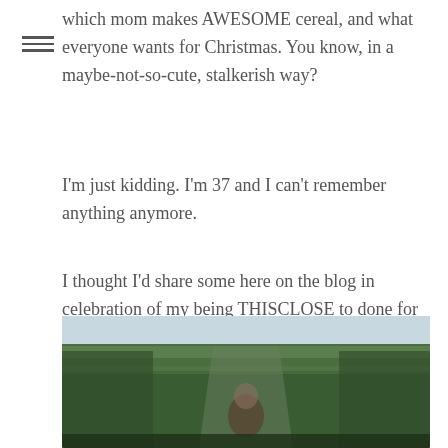which mom makes AWESOME cereal, and what everyone wants for Christmas.  You know, in a maybe-not-so-cute, stalkerish way?
I'm just kidding.  I'm 37 and I can't remember anything anymore.
I thought I'd share some here on the blog in celebration of my being THISCLOSE to done for the season!  One session left to edit and a makeup session to shoot.  Now, if I can manage to escape the stomach virus my youngest has, we'll truly be golden!  ☺
[Figure (photo): Outdoor photo showing rows of evergreen Christmas trees with a person partially visible among them, sky visible in background.]